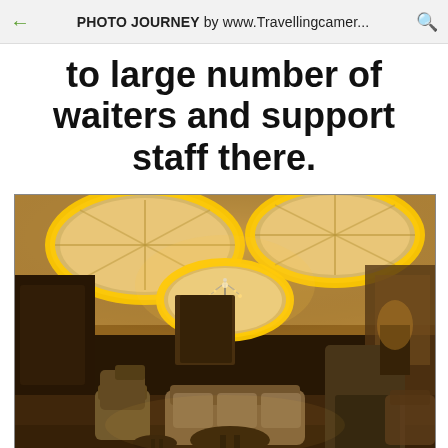PHOTO JOURNEY by www.Travellingcamer...
to large number of waiters and support staff there.
[Figure (photo): Interior of a luxurious hotel lounge or restaurant with ornate cream ceiling featuring circular recessed lights with warm golden/amber LED lighting, a central chandelier, hardwood floors, and plush beige/tan seating arrangements including sofas and chairs arranged around small tables. The space has an elegant, upscale ambiance with warm ambient lighting.]
© www.travellingcamera.com